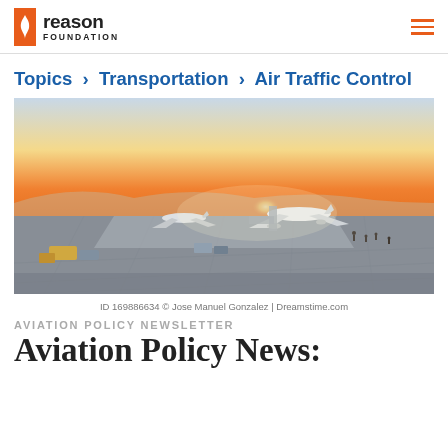Reason Foundation
Topics › Transportation › Air Traffic Control
[Figure (photo): Airport tarmac at sunset with airplanes, ground crew vehicles, and passengers walking on the apron]
ID 169886634 © Jose Manuel Gonzalez | Dreamstime.com
AVIATION POLICY NEWSLETTER
Aviation Policy News: